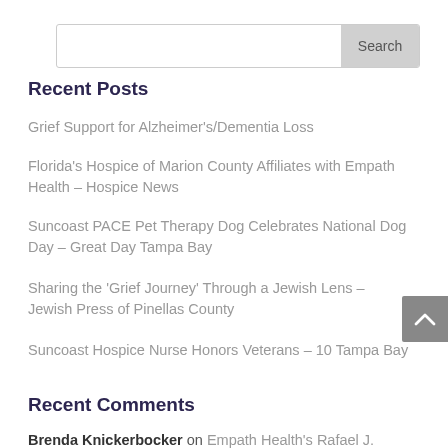Search
Recent Posts
Grief Support for Alzheimer's/Dementia Loss
Florida's Hospice of Marion County Affiliates with Empath Health – Hospice News
Suncoast PACE Pet Therapy Dog Celebrates National Dog Day – Great Day Tampa Bay
Sharing the 'Grief Journey' Through a Jewish Lens – Jewish Press of Pinellas County
Suncoast Hospice Nurse Honors Veterans – 10 Tampa Bay
Recent Comments
Brenda Knickerbocker on Empath Health's Rafael J.